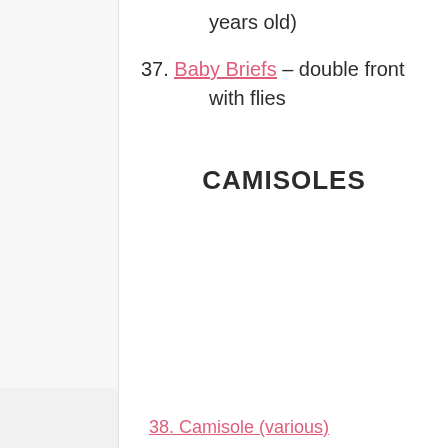years old)
37. Baby Briefs – double front with flies
CAMISOLES
38. Camisole (various)